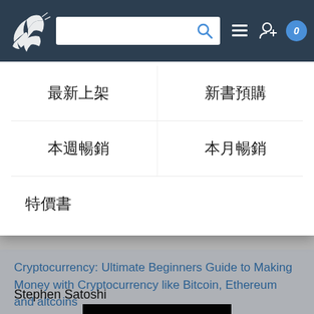[Figure (screenshot): Website navigation bar with dragon logo, search bar with magnifying glass icon, list icon, add user icon, and a badge showing 0]
最新上架
新書預購
本週暢銷
本月暢銷
特價書
Cryptocurrency: Ultimate Beginners Guide to Making Money with Cryptocurrency like Bitcoin, Ethereum and altcoins
Stephen Satoshi
[Figure (photo): Book cover of Cryptocurrency: Ultimate Beginners Guide to Making Money with CRYPTOCURRENCY title in green neon text on black background, subtitle in white text]